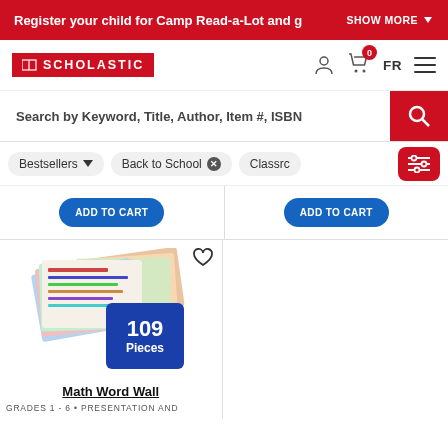Register your child for Camp Read-a-Lot and g    SHOW MORE
[Figure (logo): Scholastic logo - red box with book icon and SCHOLASTIC text]
[Figure (illustration): User account icon, cart icon with badge 0, FR language selector, hamburger menu]
Search by Keyword, Title, Author, Item #, ISBN
Bestsellers (dropdown)
Back to School (removable filter)
Classrc (partial, filter)
ADD TO CART
ADD TO CART
[Figure (photo): Math Word Wall product - stack of colorful word wall cards with blue badge showing 109 Pieces]
Math Word Wall
GRADES 1 - 6 • PRESENTATION AND